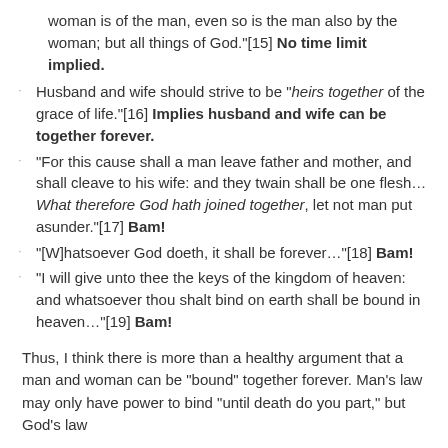woman is of the man, even so is the man also by the woman; but all things of God."[15] No time limit implied.
Husband and wife should strive to be "heirs together of the grace of life."[16] Implies husband and wife can be together forever.
"For this cause shall a man leave father and mother, and shall cleave to his wife: and they twain shall be one flesh... What therefore God hath joined together, let not man put asunder."[17] Bam!
"[W]hatsoever God doeth, it shall be forever..."[18] Bam!
"I will give unto thee the keys of the kingdom of heaven: and whatsoever thou shalt bind on earth shall be bound in heaven..."[19] Bam!
Thus, I think there is more than a healthy argument that a man and woman can be "bound" together forever. Man's law may only have power to bind "until death do you part," but God's law